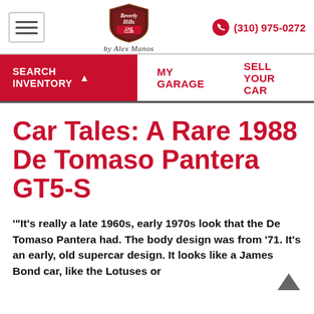Beverly Hills Car Club by Alex Manos | (310) 975-0272
SEARCH INVENTORY | MY GARAGE | SELL YOUR CAR
Car Tales: A Rare 1988 De Tomaso Pantera GT5-S
'"It's really a late 1960s, early 1970s look that the De Tomaso Pantera had. The body design was from '71. It's an early, old supercar design. It looks like a James Bond car, like the Lotuses or